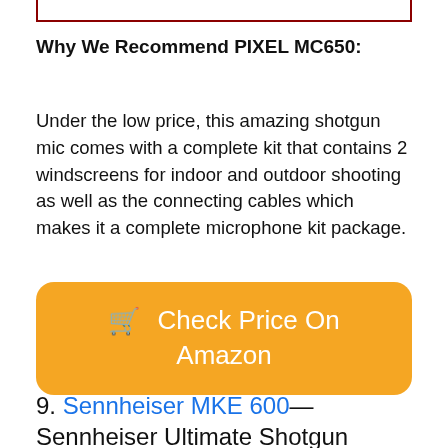Why We Recommend PIXEL MC650:
Under the low price, this amazing shotgun mic comes with a complete kit that contains 2 windscreens for indoor and outdoor shooting as well as the connecting cables which makes it a complete microphone kit package.
[Figure (other): Orange 'Check Price On Amazon' button with shopping cart icon]
9. Sennheiser MKE 600—
Sennheiser Ultimate Shotgun